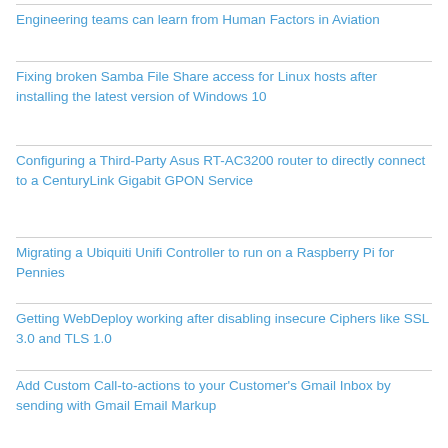Engineering teams can learn from Human Factors in Aviation
Fixing broken Samba File Share access for Linux hosts after installing the latest version of Windows 10
Configuring a Third-Party Asus RT-AC3200 router to directly connect to a CenturyLink Gigabit GPON Service
Migrating a Ubiquiti Unifi Controller to run on a Raspberry Pi for Pennies
Getting WebDeploy working after disabling insecure Ciphers like SSL 3.0 and TLS 1.0
Add Custom Call-to-actions to your Customer's Gmail Inbox by sending with Gmail Email Markup